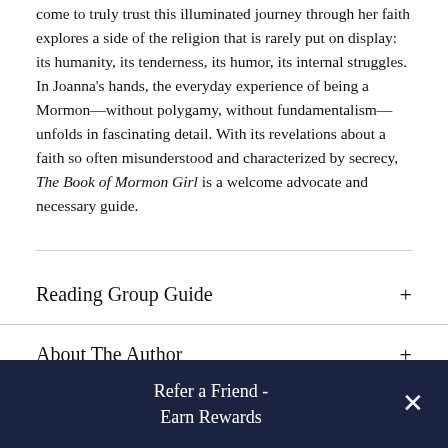come to truly trust this illuminated journey through her faith explores a side of the religion that is rarely put on display: its humanity, its tenderness, its humor, its internal struggles. In Joanna's hands, the everyday experience of being a Mormon—without polygamy, without fundamentalism—unfolds in fascinating detail. With its revelations about a faith so often misunderstood and characterized by secrecy, The Book of Mormon Girl is a welcome advocate and necessary guide.
Reading Group Guide
About The Author
Refer a Friend - Earn Rewards